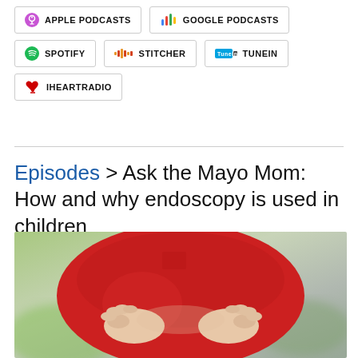[Figure (screenshot): Podcast platform buttons: Apple Podcasts, Google Podcasts, Spotify, Stitcher, TuneIn, iHeartRadio]
Episodes > Ask the Mayo Mom: How and why endoscopy is used in children
[Figure (photo): Child wearing a red shirt holding their stomach/abdomen with both hands, suggesting stomach pain]